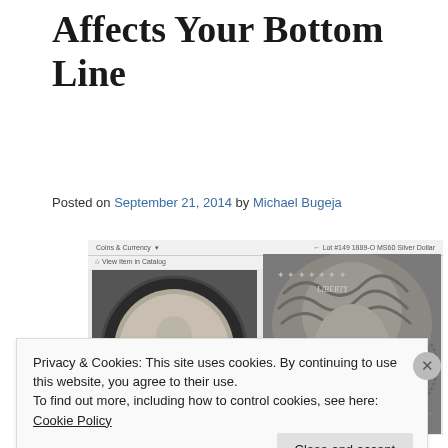Affects Your Bottom Line
Posted on September 21, 2014 by Michael Bugeja
[Figure (photo): Screenshot of a coin auction page showing two views of a Morgan Silver Dollar: a small thumbnail in an NGC holder on the left, and a large close-up of the coin obverse on the right. Header reads 'Coins & Currency' and 'Lot #149 1889-O MS60 Silver Dollar'.]
Privacy & Cookies: This site uses cookies. By continuing to use this website, you agree to their use.
To find out more, including how to control cookies, see here: Cookie Policy